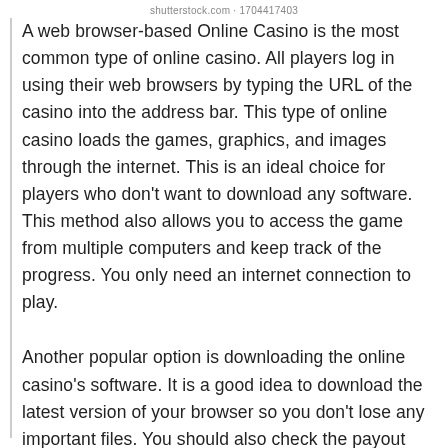shutterstock.com · 1704417403
A web browser-based Online Casino is the most common type of online casino. All players log in using their web browsers by typing the URL of the casino into the address bar. This type of online casino loads the games, graphics, and images through the internet. This is an ideal choice for players who don't want to download any software. This method also allows you to access the game from multiple computers and keep track of the progress. You only need an internet connection to play.
Another popular option is downloading the online casino's software. It is a good idea to download the latest version of your browser so you don't lose any important files. You should also check the payout